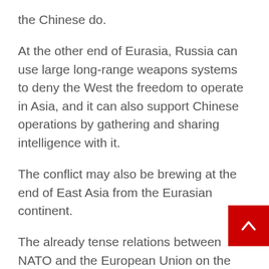the Chinese do.
At the other end of Eurasia, Russia can use large long-range weapons systems to deny the West the freedom to operate in Asia, and it can also support Chinese operations by gathering and sharing intelligence with it.
The conflict may also be brewing at the end of East Asia from the Eurasian continent.
The already tense relations between NATO and the European Union on the one hand, and Russia on the other hand, may escalate, in a situation where Russia is trying to seize some land areas in Ukraine or in the Baltic states or anywhere else around the Black Sea.